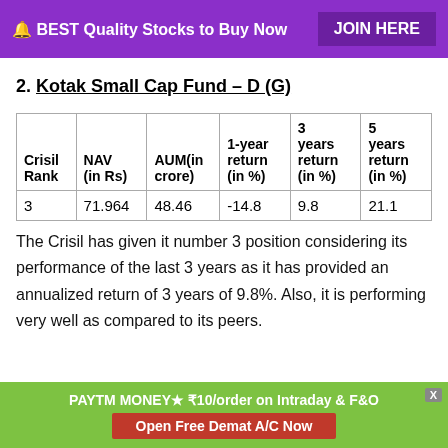🔔 BEST Quality Stocks to Buy Now   JOIN HERE
2. Kotak Small Cap Fund – D (G)
| Crisil Rank | NAV (in Rs) | AUM(in crore) | 1-year return (in %) | 3 years return (in %) | 5 years return (in %) |
| --- | --- | --- | --- | --- | --- |
| 3 | 71.964 | 48.46 | -14.8 | 9.8 | 21.1 |
The Crisil has given it number 3 position considering its performance of the last 3 years as it has provided an annualized return of 3 years of 9.8%. Also, it is performing very well as compared to its peers.
PAYTM MONEY★ ₹10/order on Intraday & F&O  Open Free Demat A/C Now